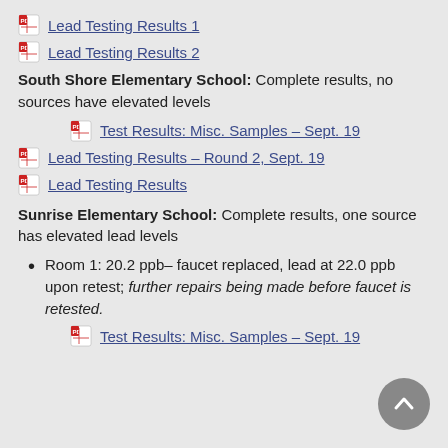Lead Testing Results 1
Lead Testing Results 2
South Shore Elementary School: Complete results, no sources have elevated levels
Test Results: Misc. Samples – Sept. 19
Lead Testing Results – Round 2, Sept. 19
Lead Testing Results
Sunrise Elementary School: Complete results, one source has elevated lead levels
Room 1: 20.2 ppb– faucet replaced, lead at 22.0 ppb upon retest; further repairs being made before faucet is retested.
Test Results: Misc. Samples – Sept. 19